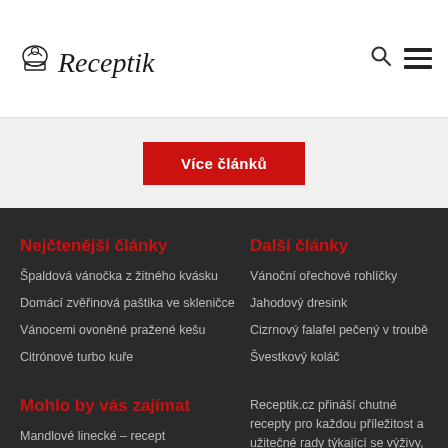Receptik
Více článků
Nejčtenější články
Špaldová vánočka z žitného kvásku
Domácí zvěřinová paštika ve skleničce
Vánocemi ovoněné pražené kešu
Citrónové turbo kuře
Další články
Vánoční ořechové rohlíčky
Jahodový dresink
Cizrnový falafel pečený v troubě
Švestkový koláč
Mohlo by vás zajímat
Mandlové linecké – recept
Avokádová pěna – recept
Aperitivo Moment
Receptik.cz přináší chutné recepty pro každou příležitost a užitečné rady týkající se výživy, zdraví a zdravého životního stylu.